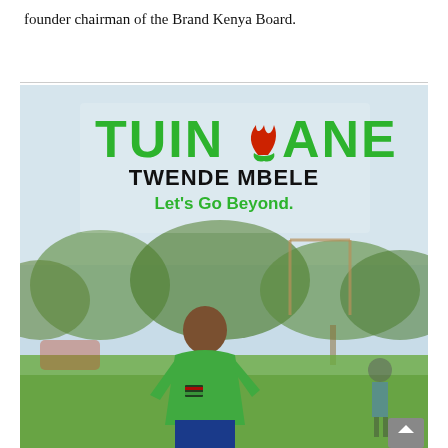founder chairman of the Brand Kenya Board.
[Figure (photo): A promotional image for 'TUINUANE TWENDE MBELE - Let's Go Beyond.' showing a young person in a green football jersey on a sports field with trees and a goalpost in the background. The TUINUANE logo is displayed prominently in green with a red flame emblem replacing the 'U'.]